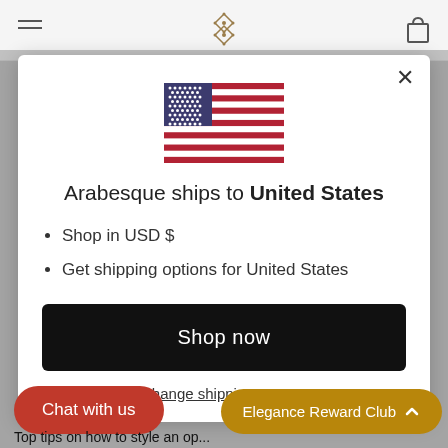[Figure (screenshot): Website navigation bar with hamburger menu icon, diamond logo, and cart icon on a light gray background]
[Figure (illustration): United States flag SVG illustration centered in modal dialog]
Arabesque ships to United States
Shop in USD $
Get shipping options for United States
Shop now
Change shipping country
Chat with us
Elegance Reward Club
Top tips on how to style an op...